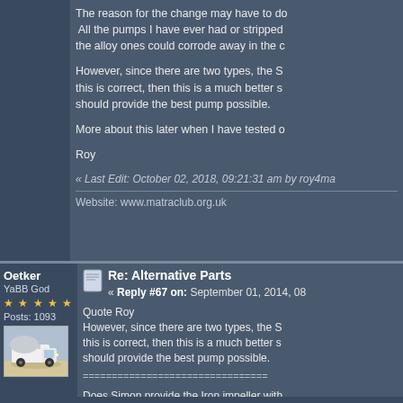The reason for the change may have to do with corrosion. All the pumps I have ever had or stripped have had alloy ones could corrode away in the c
However, since there are two types, the S this is correct, then this is a much better s should provide the best pump possible.
More about this later when I have tested o
Roy
« Last Edit: October 02, 2018, 09:21:31 am by roy4ma
Website: www.matraclub.org.uk
Oetker
YaBB God
Posts: 1093
[Figure (photo): Avatar photo of a small white van or truck with a covered load, photographed outdoors]
Re: Alternative Parts
« Reply #67 on: September 01, 2014, 08
Quote Roy
However, since there are two types, the S this is correct, then this is a much better s should provide the best pump possible.
============================
Does Simon provide the Iron impeller with
The pump in my 2.2 was with a allu impell
The pump on the pic is a Quinton Hazel Q 15 mm in fact.